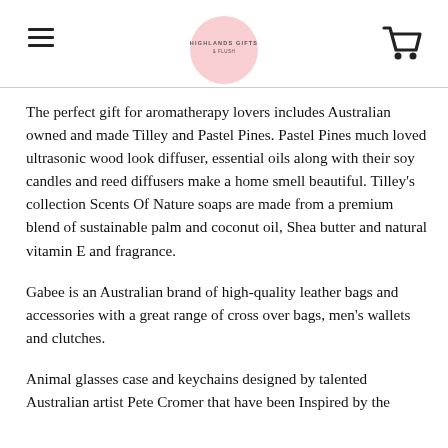Highlands Gifts & Flush — navigation header with logo
The perfect gift for aromatherapy lovers includes Australian owned and made Tilley and Pastel Pines. Pastel Pines much loved ultrasonic wood look diffuser, essential oils along with their soy candles and reed diffusers make a home smell beautiful. Tilley's collection Scents Of Nature soaps are made from a premium blend of sustainable palm and coconut oil, Shea butter and natural vitamin E and fragrance.
Gabee is an Australian brand of high-quality leather bags and accessories with a great range of cross over bags, men's wallets and clutches.
Animal glasses case and keychains designed by talented Australian artist Pete Cromer that have been Inspired by the